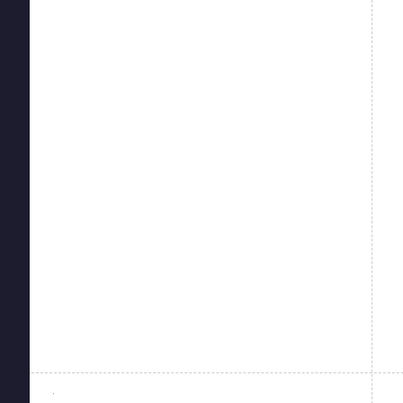Ge
File Size: 427.66 MB | Dura... Audio mp4a-40-2 | Video: AVC | 2500 Kbp...
Read  |  More
Tushyraw 20 08 12 Anya Olsen 7...
[Figure (other): 5 grey star rating icons]
Ge
File Size: 768.19 MB | Dura... Audio mp4a-40-2 | Video: AVC | 2500 Kbp...